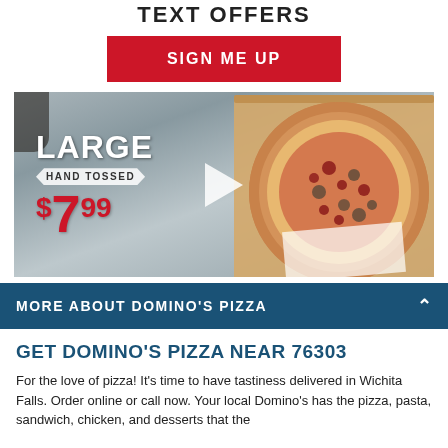TEXT OFFERS
SIGN ME UP
[Figure (photo): A large hand tossed pizza in an open Domino's box, held by a person. Overlay text shows 'LARGE HAND TOSSED $7.99' with a play button in the center.]
MORE ABOUT DOMINO'S PIZZA
GET DOMINO'S PIZZA NEAR 76303
For the love of pizza! It's time to have tastiness delivered in Wichita Falls. Order online or call now. Your local Domino's has the pizza, pasta, sandwich, chicken, and desserts that the